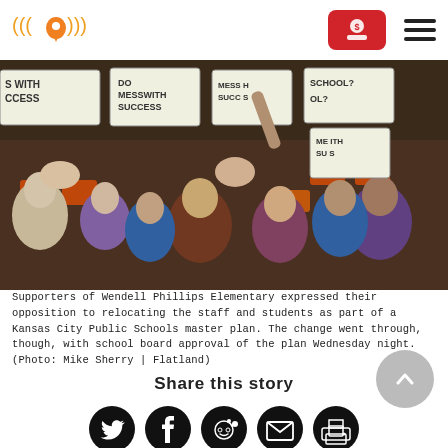[Figure (logo): Flatland radio signal and location pin logo in orange/yellow]
[Figure (photo): Crowd of people sitting in auditorium seats holding protest signs reading 'DON'T MESS WITH SUCCESS' and 'WHAT FOR PI SCHOOL?' in blue and purple shirts]
Supporters of Wendell Phillips Elementary expressed their opposition to relocating the staff and students as part of a Kansas City Public Schools master plan. The change went through, though, with school board approval of the plan Wednesday night. (Photo: Mike Sherry | Flatland)
Share this story
[Figure (infographic): Row of five social media share icons: Twitter, Facebook, Reddit, Email, Print — all white icons on black circular backgrounds]